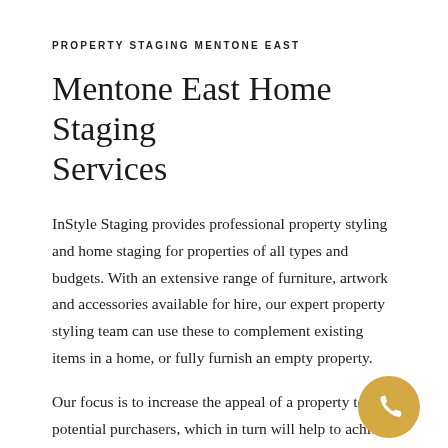PROPERTY STAGING MENTONE EAST
Mentone East Home Staging Services
InStyle Staging provides professional property styling and home staging for properties of all types and budgets. With an extensive range of furniture, artwork and accessories available for hire, our expert property styling team can use these to complement existing items in a home, or fully furnish an empty property.
Our focus is to increase the appeal of a property to potential purchasers, which in turn will help to achieve a premium sale price. Working closely with Real Estate Agents & Vendors we assess both the style of the home and